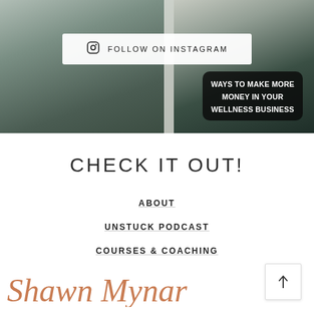[Figure (screenshot): Two-panel photo of a woman in dark clothing doing yoga/stretching poses indoors. Left panel shows her near a white door, right panel is a close-up. An Instagram follow button bar overlays the top-center. A dark rounded badge overlays lower-right reading 'WAYS TO MAKE MORE MONEY IN YOUR WELLNESS BUSINESS'.]
FOLLOW ON INSTAGRAM
WAYS TO MAKE MORE MONEY IN YOUR WELLNESS BUSINESS
CHECK IT OUT!
ABOUT
UNSTUCK PODCAST
COURSES & COACHING
Shawn Mynar